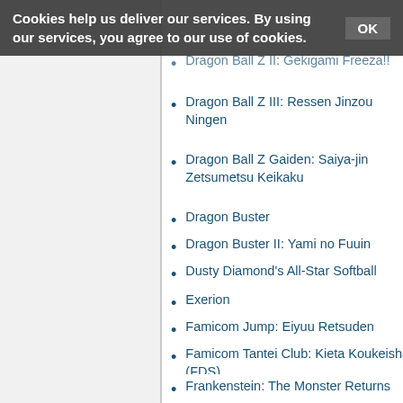Cookies help us deliver our services. By using our services, you agree to our use of cookies. OK
Dragon Ball Z II: Gekigami Freeza!!
Dragon Ball Z III: Ressen Jinzou Ningen
Dragon Ball Z Gaiden: Saiya-jin Zetsumetsu Keikaku
Dragon Buster
Dragon Buster II: Yami no Fuuin
Dusty Diamond's All-Star Softball
Exerion
Famicom Jump: Eiyuu Retsuden
Famicom Tantei Club: Kieta Koukeisha (FDS)
Frankenstein: The Monster Returns
Fuuun Shourinken (FDS)
Fudou Myouou Den
Gegege no Kitaro: Youkai Daimakyou/Ninja Kid
GeGeGe no Kitarou 2: Youkai